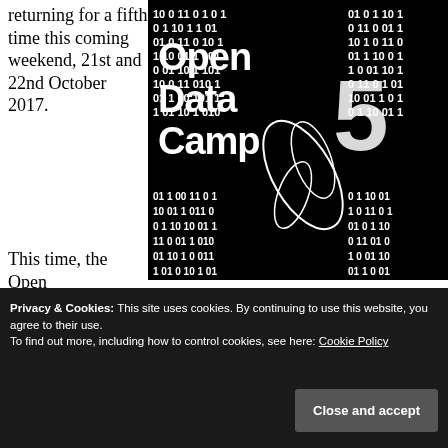returning for a fifth time this coming weekend, 21st and 22nd October 2017.
[Figure (illustration): Open Data Camp 5 logo/poster: black background with white binary digits (0s and 1s) and a stylized hummingbird illustration, with large white text reading 'Open Data Camp 5']
This time, the Open Data Camp charabanc will be visiting the lovely city of Belfast, in Northern Ireland.
Privacy & Cookies: This site uses cookies. By continuing to use this website, you agree to their use.
To find out more, including how to control cookies, see here: Cookie Policy
Close and accept